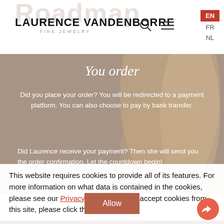Roadmap
LAURENCE VANDENBORRE
FINE JEWELRY
You order
Did you place your order? You will be redirected to a payment platform. You can also choose to pay by bank transfer.
Did Laurence receive your payment? Then she will send you the order confirmation. Let the countdown begin!
This website requires cookies to provide all of its features. For more information on what data is contained in the cookies, please see our Privacy Policy page. To accept cookies from this site, please click the "Allow" button.